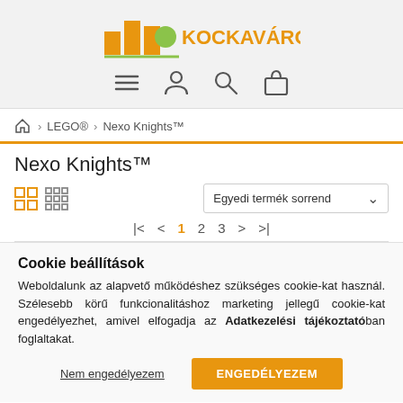Kockavaros - header with logo and navigation icons
🏠 > LEGO® > Nexo Knights™
Nexo Knights™
Grid view options | Egyedi termék sorrend (sort dropdown)
Pagination: |< < 1 2 3 > >|
Cookie beállítások
Weboldalunk az alapvető működéshez szükséges cookie-kat használ. Szélesebb körű funkcionalitáshoz marketing jellegű cookie-kat engedélyezhet, amivel elfogadja az Adatkezelési tájékoztatóban foglaltakat.
Nem engedélyezem | ENGEDÉLYEZEM